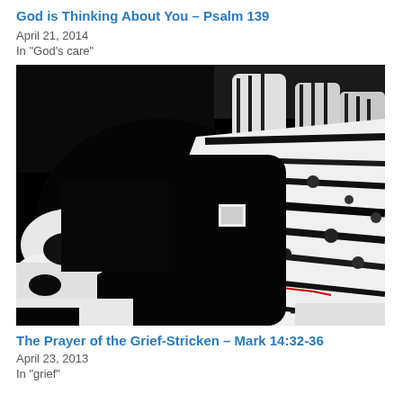God is Thinking About You – Psalm 139
April 21, 2014
In "God's care"
[Figure (photo): High contrast black and white artistic photo of praying hands clasped together, with dramatic lighting showing dark shadows and bright highlights on the fingers.]
The Prayer of the Grief-Stricken – Mark 14:32-36
April 23, 2013
In "grief"